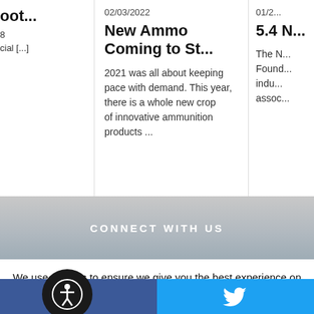oot...
8
cial [...]
02/03/2022
New Ammo Coming to St...
2021 was all about keeping pace with demand. This year, there is a whole new crop of innovative ammunition products ...
READ MORE
01/2...
5.4 N...
The N... Found... indu... assoc...
READ...
CONNECT WITH US
We use cookies to ensure we give you the best experience on our website. By clicking "Accept" or using ou bsite, you consent to the use of cookies unless
[Figure (other): Facebook social share button (dark blue background with white f logo)]
[Figure (other): Twitter social share button (light blue background with white bird logo)]